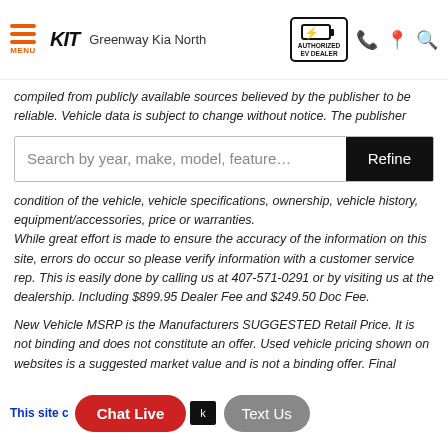Greenway Kia North — Authorized EV Dealer
compiled from publicly available sources believed by the publisher to be reliable. Vehicle data is subject to change without notice. The publisher
Search by year, make, model, feature…
condition of the vehicle, vehicle specifications, ownership, vehicle history, equipment/accessories, price or warranties.
While great effort is made to ensure the accuracy of the information on this site, errors do occur so please verify information with a customer service rep. This is easily done by calling us at 407-571-0291 or by visiting us at the dealership. Including $899.95 Dealer Fee and $249.50 Doc Fee.
New Vehicle MSRP is the Manufacturers SUGGESTED Retail Price. It is not binding and does not constitute an offer. Used vehicle pricing shown on websites is a suggested market value and is not a binding offer. Final pricing may vary significantly between website displayed pricing and final in person consummated agreement and is subject to market conditions, equipment variations, and other factors. See store management in person in the dealership for final pricing. Pricing is not final or binding until signed in…
This site … Chat Live   Text Us